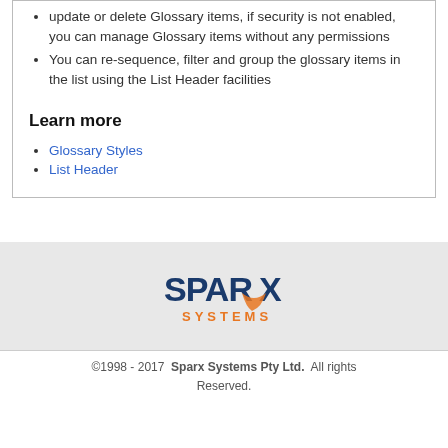update or delete Glossary items, if security is not enabled, you can manage Glossary items without any permissions
You can re-sequence, filter and group the glossary items in the list using the List Header facilities
Learn more
Glossary Styles
List Header
[Figure (logo): Sparx Systems logo with orange and blue text]
©1998 - 2017  Sparx Systems Pty Ltd.  All rights Reserved.